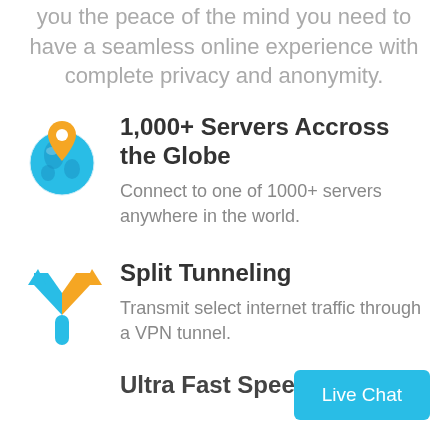you the peace of the mind you need to have a seamless online experience with complete privacy and anonymity.
[Figure (illustration): Globe icon with an orange location pin on top, representing global servers]
1,000+ Servers Accross the Globe
Connect to one of 1000+ servers anywhere in the world.
[Figure (illustration): Y-shaped split arrow icon with blue left arrow and orange right arrow, representing split tunneling]
Split Tunneling
Transmit select internet traffic through a VPN tunnel.
Live Chat
Ultra Fast Speed